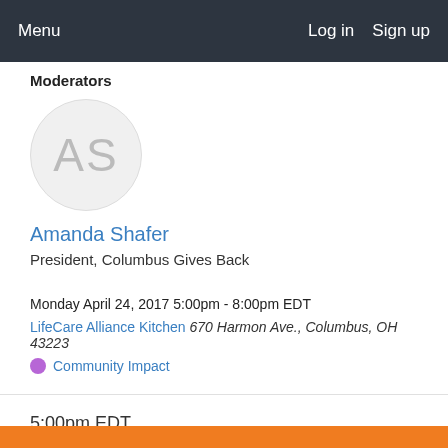Menu   Log in   Sign up
Moderators
[Figure (illustration): Avatar circle with initials AS in gray]
Amanda Shafer
President, Columbus Gives Back
Monday April 24, 2017 5:00pm - 8:00pm EDT
LifeCare Alliance Kitchen 670 Harmon Ave., Columbus, OH 43223
Community Impact
5:00pm EDT